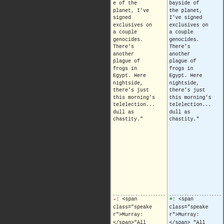[Figure (screenshot): Dark noisy background on left half of page]
e of the planet, I've signed exclusives on a couple genocides. There's another plague of frogs in Egypt. Here nightside, there's just this morning's telelection... dull as chastity."
bayside of the planet, I've signed exclusives on a couple genocides. There's another plague of frogs in Egypt. Here nightside, there's just this morning's telelection... dull as chastity."
-: <span class="speaker">Murray:</span>"All right, if anything breaks, we'll
+: <span class="speaker">Murray:</span> "All right, if anything breaks, we'll